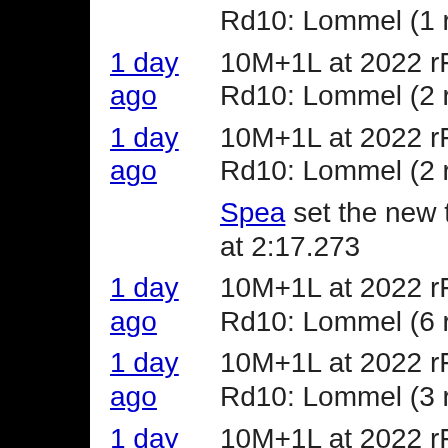ago  Rd10: Lommel (1 riders)
1 day ago  10M+1L at 2022 rF Gaming GP Rd10: Lommel (2 riders)
1 day ago  10M+1L at 2022 rF Gaming GP Rd10: Lommel (2 riders)
Spea set the new track record at 2:17.273
1 day ago  10M+1L at 2022 rF Gaming GP Rd10: Lommel (6 riders)
1 day ago  10M+1L at 2022 rF Gaming GP Rd10: Lommel (3 riders)
1 day ago  10M+1L at 2022 rF Gaming GP Rd10: Lommel (3 riders)
Track Records
| Track | Time | Name |
| --- | --- | --- |
| 2017 rF Gaming National Rd03: Thunder Valley | 2:01.968 | Atom Holm | Architec… |
| 2017 rF Gaming National Rd04: | 1:55.445 | Kevin Ferzacca | BPC Husqvarna | Team… |